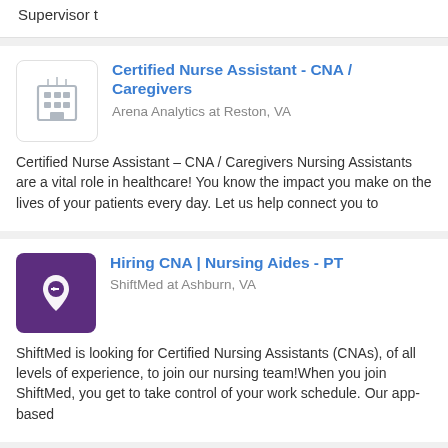Supervisor t
Certified Nurse Assistant - CNA / Caregivers
Arena Analytics at Reston, VA
Certified Nurse Assistant – CNA / Caregivers Nursing Assistants are a vital role in healthcare! You know the impact you make on the lives of your patients every day. Let us help connect you to
Hiring CNA | Nursing Aides - PT
ShiftMed at Ashburn, VA
ShiftMed is looking for Certified Nursing Assistants (CNAs), of all levels of experience, to join our nursing team!When you join ShiftMed, you get to take control of your work schedule. Our app-based